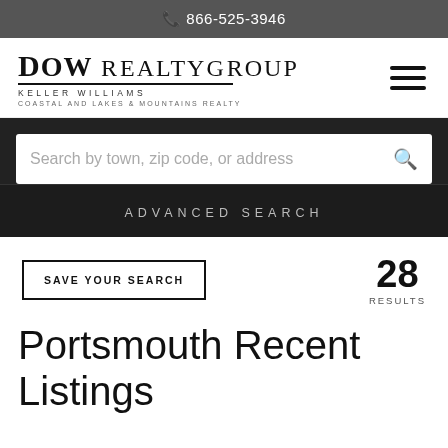866-525-3946
[Figure (logo): Dow Realty Group Keller Williams - Coastal and Lakes & Mountains Realty logo with serif font and underline decoration]
Search by town, zip code, or address
ADVANCED SEARCH
SAVE YOUR SEARCH
28 RESULTS
Portsmouth Recent Listings